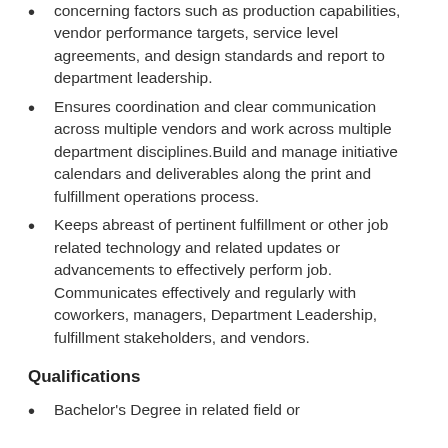concerning factors such as production capabilities, vendor performance targets, service level agreements, and design standards and report to department leadership.
Ensures coordination and clear communication across multiple vendors and work across multiple department disciplines.Build and manage initiative calendars and deliverables along the print and fulfillment operations process.
Keeps abreast of pertinent fulfillment or other job related technology and related updates or advancements to effectively perform job. Communicates effectively and regularly with coworkers, managers, Department Leadership, fulfillment stakeholders, and vendors.
Qualifications
Bachelor's Degree in related field or